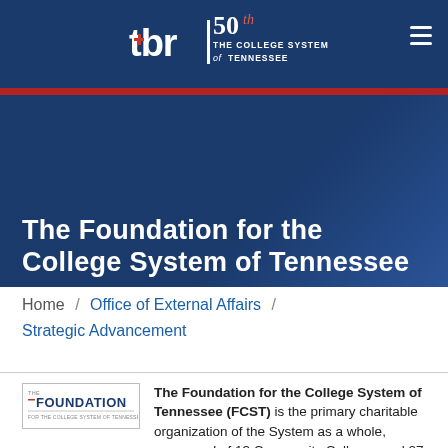[Figure (logo): TBR 50th anniversary logo — Tennessee Board of Regents, The College System of Tennessee]
The Foundation for the College System of Tennessee
Home / Office of External Affairs / Strategic Advancement
[Figure (logo): Foundation for the College System of Tennessee logo]
The Foundation for the College System of Tennessee (FCST) is the primary charitable organization of the System as a whole, composed of 13 Community Colleges and 27 Tennessee Colleges of Applied Technology. To ensure that the Foundation can support the System's mission of Student Success and